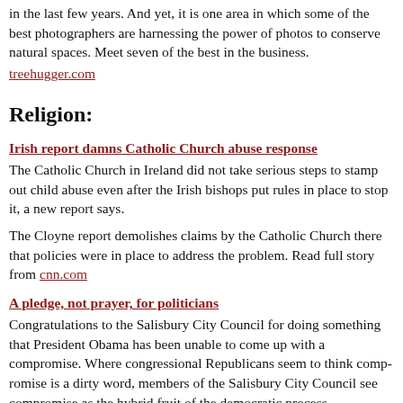in the last few years. And yet, it is one area in which some of the best photographers are harnessing the power of photos to conserve natural spaces. Meet seven of the best in the business.
treehugger.com
Religion:
Irish report damns Catholic Church abuse response
The Catholic Church in Ireland did not take serious steps to stamp out child abuse even after the Irish bishops put rules in place to stop it, a new report says.
The Cloyne report demolishes claims by the Catholic Church there that policies were in place to address the problem. Read full story from cnn.com
A pledge, not prayer, for politicians
Congratulations to the Salisbury City Council for doing something that President Obama has been unable to come up with a compromise. Where congressional Republicans seem to think compromise is a dirty word, members of the Salisbury City Council see compromise as the hybrid fruit of the democratic process.
And huzzah to all that!
Of course, the matter on which the Salisburians compromised has no place in government, but we appreciate their regard for accommodation.
The Salisburians had to decide if it's appropriate to open City Council meetings with prayer. baltimoresun.com
Why we're drawn to Harry Potter's theology
It's been 13 years since the first Harry Potter book landed on store shelves and